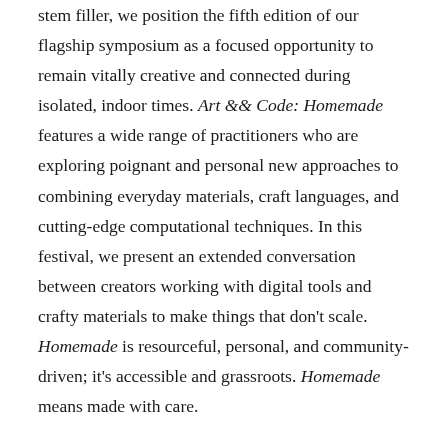stem filler, we position the fifth edition of our flagship symposium as a focused opportunity to remain vitally creative and connected during isolated, indoor times. Art && Code: Homemade features a wide range of practitioners who are exploring poignant and personal new approaches to combining everyday materials, craft languages, and cutting-edge computational techniques. In this festival, we present an extended conversation between creators working with digital tools and crafty materials to make things that don't scale. Homemade is resourceful, personal, and community-driven; it's accessible and grassroots. Homemade means made with care.
Art && Code: Homemade is fully remote with talks and gatherings between our homes and yours. More than two dozen presentations will be live-streamed online, with